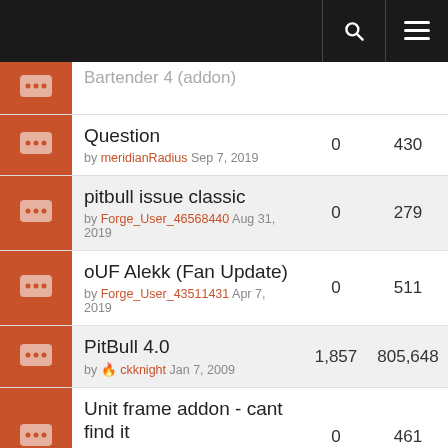Navigation bar with search and menu icons
Question by meridianRadius Sep 7, 2019 | 0 replies | 430 views
pitbull issue classic by Forge_User_46568440 Aug 31, 2019 | 0 replies | 279 views
oUF Alekk (Fan Update) by Forge_User_43511431 Apr 7, 2019 | 0 replies | 511 views
PitBull 4.0 by ckknight Jan 7, 2009 | 1,857 replies | 805,648 views
Unit frame addon - cant find it by Forge_User_37589238 Jan 3, 2019 | 0 replies | 461 views
X-Perl Thread by Forge_User_26050436 Oct 7, 2008 | 715 replies | 355,644 views